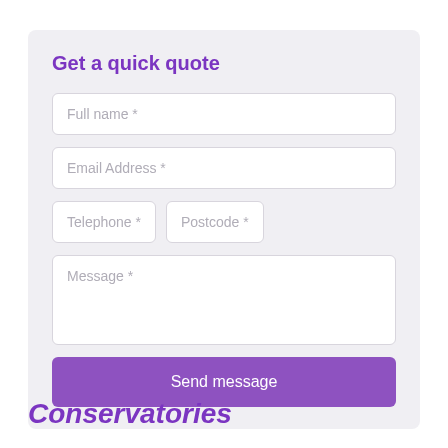Get a quick quote
Full name *
Email Address *
Telephone *
Postcode *
Message *
Send message
Conservatories